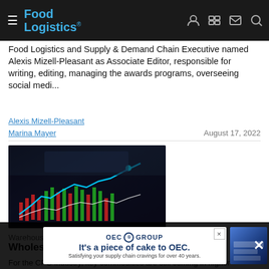Food Logistics
Food Logistics and Supply & Demand Chain Executive named Alexis Mizell-Pleasant as Associate Editor, responsible for writing, editing, managing the awards programs, overseeing social medi...
Alexis Mizell-Pleasant
Marina Mayer
August 17, 2022
[Figure (photo): Stock market chart showing financial data with green and red candlestick bars and a blue trend line overlay, with a person's hands visible in background]
Warehousing
Whole...
For the CPG industry, key commodities are still coming in higher
[Figure (other): OEC Group advertisement banner: 'It's a piece of cake to OEC. Satisfying your supply chain cravings for over 40 years.']